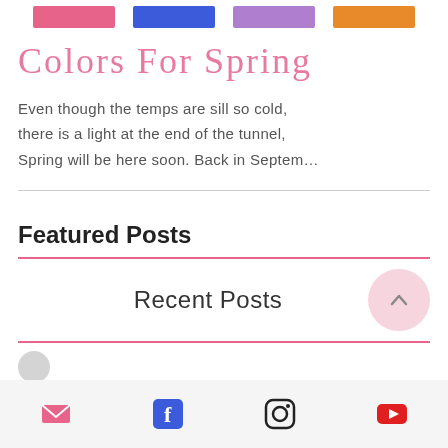[Figure (infographic): Four color swatches in a row: pink, blue, purple, orange]
Colors For Spring
Even though the temps are sill so cold, there is a light at the end of the tunnel, Spring will be here soon. Back in Septem...
Featured Posts
Recent Posts
Email, Facebook, Instagram, YouTube social icons